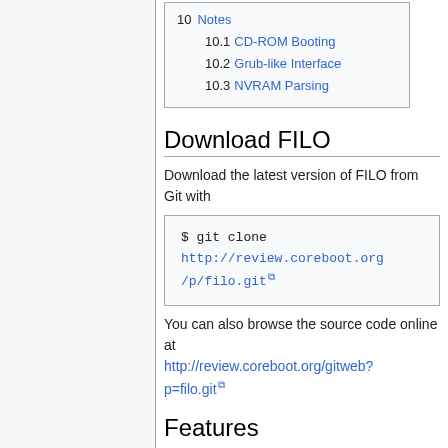10 Notes
10.1 CD-ROM Booting
10.2 Grub-like Interface
10.3 NVRAM Parsing
Download FILO
Download the latest version of FILO from Git with
$ git clone http://review.coreboot.org/p/filo.git
You can also browse the source code online at http://review.coreboot.org/gitweb?p=filo.git
Features